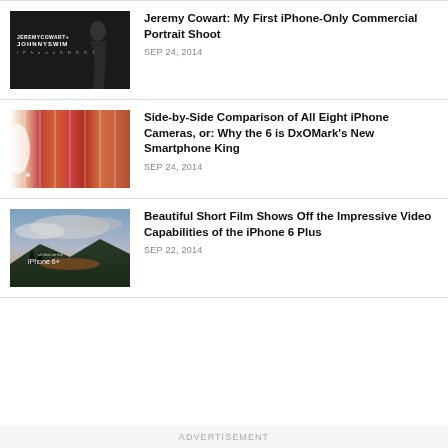[Figure (photo): Dark portrait shoot thumbnail with text JEREMYCOWART+ JOHNNYSWIM iPhone SHOOT]
Jeremy Cowart: My First iPhone-Only Commercial Portrait Shoot
SEP 24, 2014
[Figure (photo): Side-by-side comparison of eight iPhone cameras showing people in colorful clothing]
Side-by-Side Comparison of All Eight iPhone Cameras, or: Why the 6 is DxOMark's New Smartphone King
SEP 24, 2014
[Figure (photo): Landscape shot of mountains at dusk with overlay text: all shot on the iPhone 6+]
Beautiful Short Film Shows Off the Impressive Video Capabilities of the iPhone 6 Plus
SEP 22, 2014
ADVERTISEMENT